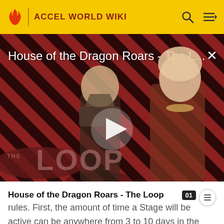ACCEL WORLD WIKI
[Figure (screenshot): Video thumbnail showing two characters from House of the Dragon against a diagonal stripe background with 'THE LOOP' text overlay and a play button in the center. Title reads 'House of the Dragon Roars - The L...' with a close X button.]
House of the Dragon Roars - The Loop
rules. First, the amount of time a Stage will be active can be anywhere from 3 to 10 days in the Unlimited Neutral Field, but no longer than that. Stages of each attribute appear with almost equal frequency. In addition, the stage